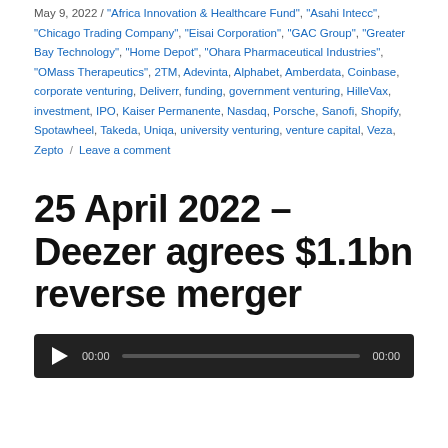May 9, 2022 / "Africa Innovation & Healthcare Fund", "Asahi Intecc", "Chicago Trading Company", "Eisai Corporation", "GAC Group", "Greater Bay Technology", "Home Depot", "Ohara Pharmaceutical Industries", "OMass Therapeutics", 2TM, Adevinta, Alphabet, Amberdata, Coinbase, corporate venturing, Deliverr, funding, government venturing, HilleVax, investment, IPO, Kaiser Permanente, Nasdaq, Porsche, Sanofi, Shopify, Spotawheel, Takeda, Uniqa, university venturing, venture capital, Veza, Zepto / Leave a comment
25 April 2022 – Deezer agrees $1.1bn reverse merger
[Figure (other): Audio player widget with play button, time display 00:00, progress bar, and end time 00:00 on dark background]